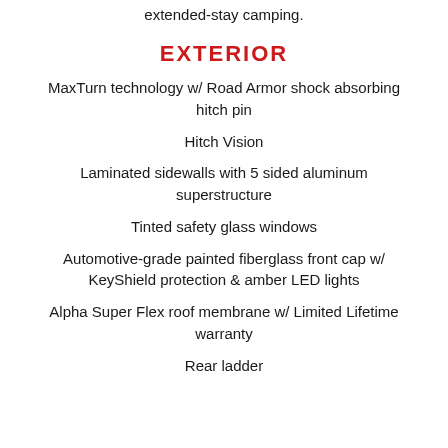extended-stay camping.
EXTERIOR
MaxTurn technology w/ Road Armor shock absorbing hitch pin
Hitch Vision
Laminated sidewalls with 5 sided aluminum superstructure
Tinted safety glass windows
Automotive-grade painted fiberglass front cap w/ KeyShield protection & amber LED lights
Alpha Super Flex roof membrane w/ Limited Lifetime warranty
Rear ladder